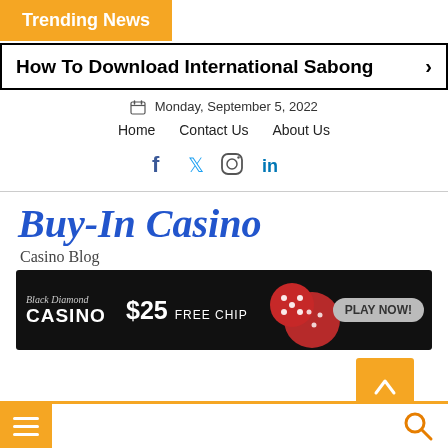Trending News
How To Download International Sabong
Monday, September 5, 2022
Home   Contact Us   About Us
[Figure (screenshot): Social media icons: Facebook, Twitter, Instagram, LinkedIn]
Buy-In Casino
Casino Blog
[Figure (illustration): Black Diamond Casino banner ad: $25 FREE CHIP, PLAY NOW, with red dice on the right]